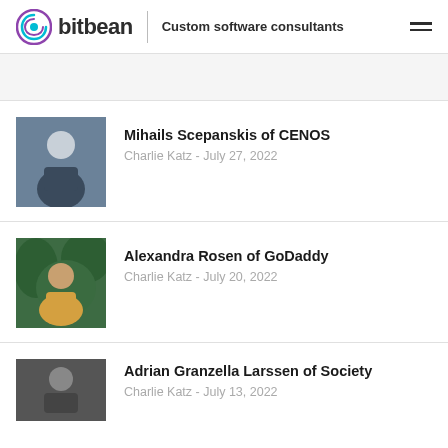bitbean | Custom software consultants
Mihails Scepanskis of CENOS
Charlie Katz - July 27, 2022
Alexandra Rosen of GoDaddy
Charlie Katz - July 20, 2022
Adrian Granzella Larssen of Society
Charlie Katz - July 13, 2022